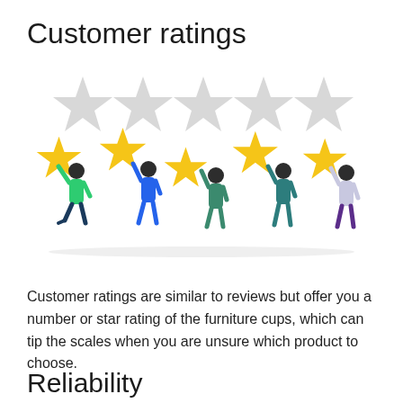Customer ratings
[Figure (illustration): Five people holding up gold stars, with five light gray stars shown above them in a row, representing a customer ratings concept.]
Customer ratings are similar to reviews but offer you a number or star rating of the furniture cups, which can tip the scales when you are unsure which product to choose.
Reliability